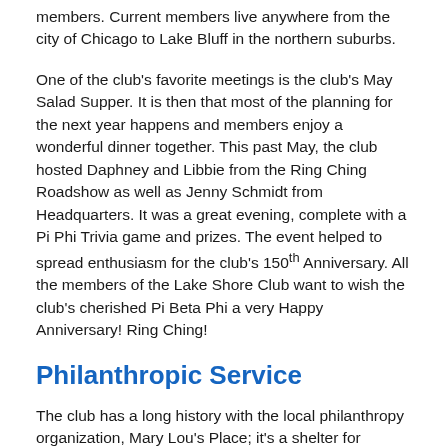members. Current members live anywhere from the city of Chicago to Lake Bluff in the northern suburbs.
One of the club's favorite meetings is the club's May Salad Supper. It is then that most of the planning for the next year happens and members enjoy a wonderful dinner together. This past May, the club hosted Daphney and Libbie from the Ring Ching Roadshow as well as Jenny Schmidt from Headquarters. It was a great evening, complete with a Pi Phi Trivia game and prizes. The event helped to spread enthusiasm for the club's 150th Anniversary. All the members of the Lake Shore Club want to wish the club's cherished Pi Beta Phi a very Happy Anniversary! Ring Ching!
Philanthropic Service
The club has a long history with the local philanthropy organization, Mary Lou's Place; it's a shelter for women and children who have had to escape a domestic abuse situation. The club has supported them with necessities drives, holiday gifts and various cleaning and organizing projects. Every few years, some of the professionals who work at Mary Lou's Place have come to speak at a meeting